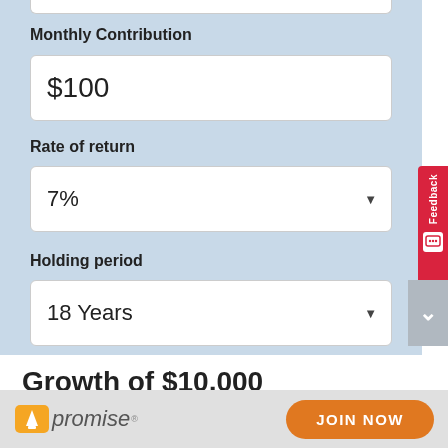Monthly Contribution
$100
Rate of return
7%
Holding period
18 Years
Growth of $10,000
[Figure (screenshot): Upromise logo with orange UP icon and text 'upromise' in italic]
JOIN NOW